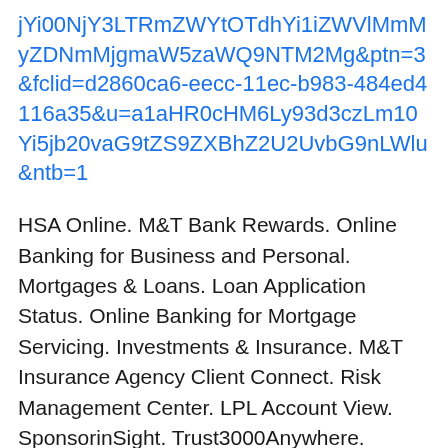jYi00NjY3LTRmZWYtOTdhYi1iZWVlMmMyZDNmMjgmaW5zaWQ9NTM2Mg&ptn=3&fclid=d2860ca6-eecc-11ec-b983-484ed4116a35&u=a1aHR0cHM6Ly93d3czLm10Yi5jb20vaG9tZS9ZXBhZ2U2UvbG9nLWlu&ntb=1
HSA Online. M&T Bank Rewards. Online Banking for Business and Personal. Mortgages & Loans. Loan Application Status. Online Banking for Mortgage Servicing. Investments & Insurance. M&T Insurance Agency Client Connect. Risk Management Center. LPL Account View. SponsorinSight. Trust3000Anywhere. Wilmington Trust Benefit Payments. Wilmington Trust ...